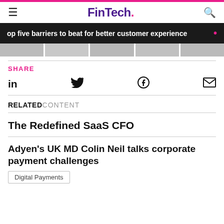FinTech.
op five barriers to beat for better customer experience
SHARE
RELATED CONTENT
The Redefined SaaS CFO
Adyen's UK MD Colin Neil talks corporate payment challenges
Digital Payments